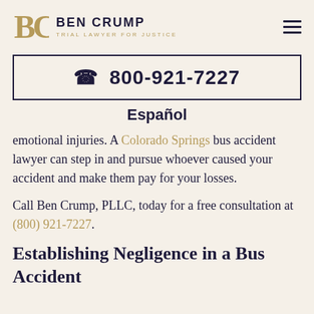BEN CRUMP TRIAL LAWYER FOR JUSTICE
☎ 800-921-7227
Español
emotional injuries. A Colorado Springs bus accident lawyer can step in and pursue whoever caused your accident and make them pay for your losses.

Call Ben Crump, PLLC, today for a free consultation at (800) 921-7227.
Establishing Negligence in a Bus Accident